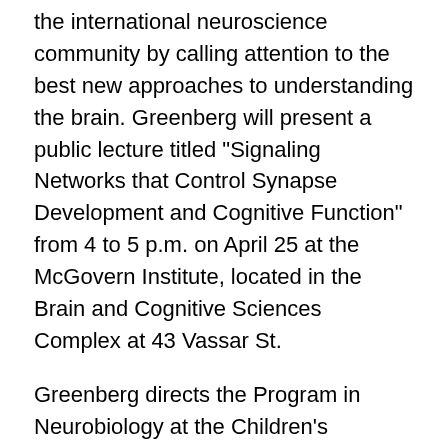the international neuroscience community by calling attention to the best new approaches to understanding the brain. Greenberg will present a public lecture titled "Signaling Networks that Control Synapse Development and Cognitive Function" from 4 to 5 p.m. on April 25 at the McGovern Institute, located in the Brain and Cognitive Sciences Complex at 43 Vassar St.
Greenberg directs the Program in Neurobiology at the Children's Hospital/Harvard Medical School Department of Neurology. He has made seminal discoveries that have resulted in entirely new avenues of investigation in neural development, the neural response to injury and disease, and the search for new treatments for neurological disorders and